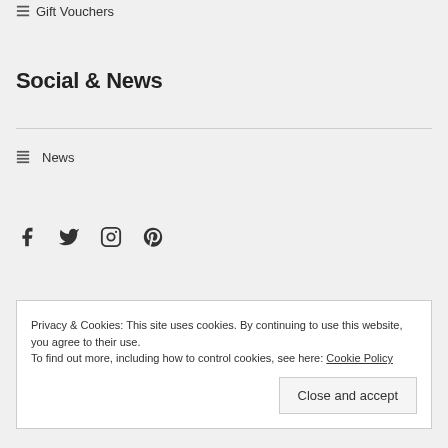Gift Vouchers
Social & News
News
[Figure (other): Social media icons: Facebook, Twitter, Instagram, Pinterest]
Privacy & Cookies: This site uses cookies. By continuing to use this website, you agree to their use.
To find out more, including how to control cookies, see here: Cookie Policy
Close and accept